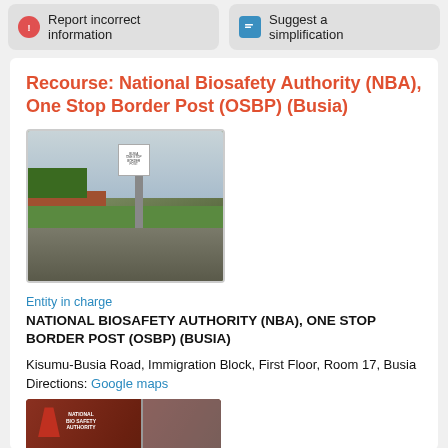Report incorrect information
Suggest a simplification
Recourse: National Biosafety Authority (NBA), One Stop Border Post (OSBP) (Busia)
[Figure (photo): Photo of Busia One Stop Border Post sign and building exterior with road and trees]
Entity in charge
NATIONAL BIOSAFETY AUTHORITY (NBA), ONE STOP BORDER POST (OSBP) (BUSIA)
Kisumu-Busia Road, Immigration Block, First Floor, Room 17, Busia
Directions: Google maps
[Figure (photo): Photo of National Biosafety Authority office entrance with red signage]